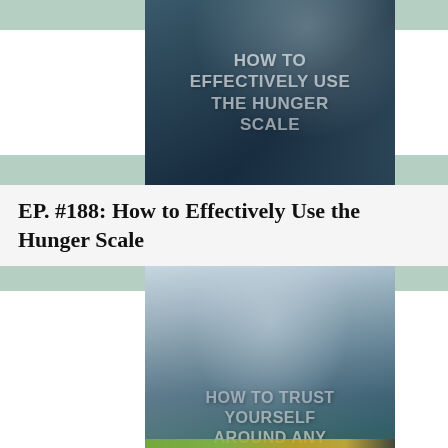[Figure (photo): Podcast episode thumbnail showing a woman eating/dining with bold white text overlay reading 'HOW TO EFFECTIVELY USE THE HUNGER SCALE' on a dark teal background]
EP. #188: How to Effectively Use the Hunger Scale
[Figure (photo): Podcast episode thumbnail showing a woman looking up pensively with fruit and donuts on a table, with bold white text overlay reading 'HOW TO TRUST YOURSELF AROUND ANY FOOD']